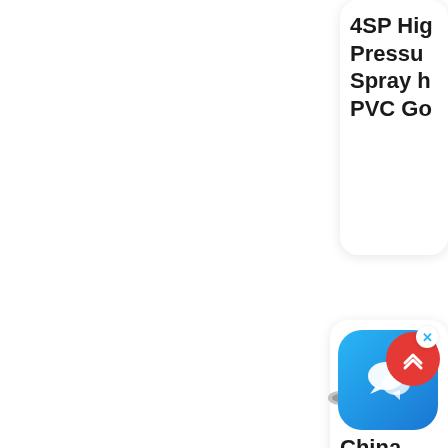[Figure (screenshot): Partial product card showing truncated text: 4SP Hig, Pressu, Spray h, PVC Go]
4SP Hig
Pressu
Spray h
PVC Go
[Figure (screenshot): Product listing card with chat icon popup and close button, hose product image, text: China Hydra Hose Manuf Auto Air ... and Hydra Hose, A Condit]
China
Hydra
Hose
Manuf
Auto
Air ...
Hydra
Hose, A
Condit